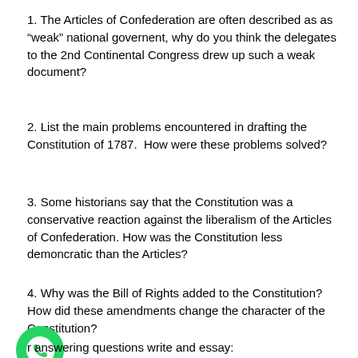1. The Articles of Confederation are often described as as “weak” national governent, why do you think the delegates to the 2nd Continental Congress drew up such a weak document?
2. List the main problems encountered in drafting the Constitution of 1787.  How were these problems solved?
3. Some historians say that the Constitution was a conservative reaction against the liberalism of the Articles of Confederation. How was the Constitution less demoncratic than the Articles?
4. Why was the Bill of Rights added to the Constitution?  How did these amendments change the character of the Constitution?
r answering questions write and essay:
[Figure (logo): WhatsApp green logo icon]